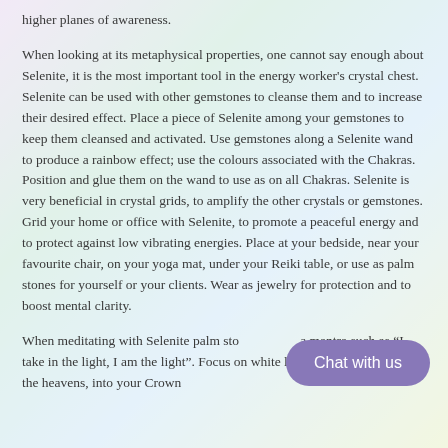higher planes of awareness.
When looking at its metaphysical properties, one cannot say enough about Selenite, it is the most important tool in the energy worker’s crystal chest.  Selenite can be used with other gemstones to cleanse them and to increase their desired effect. Place a piece of Selenite among your gemstones to keep them cleansed and activated. Use gemstones along a Selenite wand to produce a rainbow effect; use the colours associated with the Chakras. Position and glue them on the wand to use as on all Chakras. Selenite is very beneficial in crystal grids, to amplify the other crystals or gemstones. Grid your home or office with Selenite, to promote a peaceful energy and to protect against low vibrating energies. Place at your bedside, near your favourite chair, on your yoga mat, under your Reiki table, or use as palm stones for yourself or your clients. Wear as jewelry for protection and to boost mental clarity.
When meditating with Selenite palm stones, repeat a mantra such as “I take in the light, I am the light”. Focus on white light coming down from the heavens, into your Crown